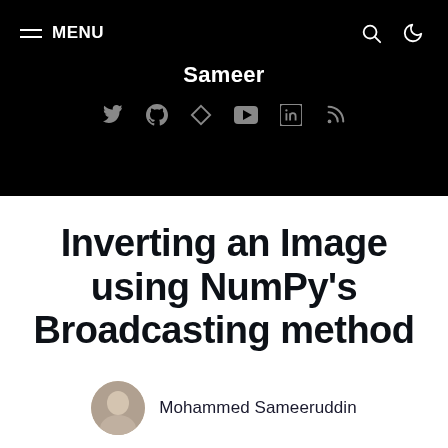MENU | Sameer
Inverting an Image using NumPy's Broadcasting method
Mohammed Sameeruddin